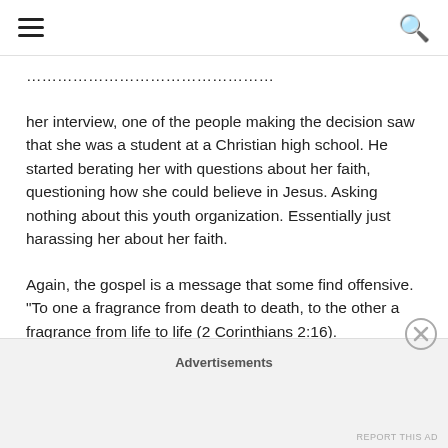[hamburger menu icon] [search icon]
her interview, one of the people making the decision saw that she was a student at a Christian high school. He started berating her with questions about her faith, questioning how she could believe in Jesus. Asking nothing about this youth organization. Essentially just harassing her about her faith.
Again, the gospel is a message that some find offensive. "To one a fragrance from death to death, to the other a fragrance from life to life (2 Corinthians 2:16).
Advertisements
REPORT THIS AD